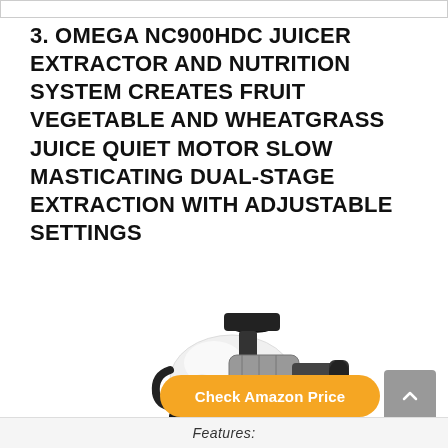3. OMEGA NC900HDC JUICER EXTRACTOR AND NUTRITION SYSTEM CREATES FRUIT VEGETABLE AND WHEATGRASS JUICE QUIET MOTOR SLOW MASTICATING DUAL-STAGE EXTRACTION WITH ADJUSTABLE SETTINGS
[Figure (photo): Omega NC900HDC juicer - a white and black slow masticating juicer with a horizontal auger design, feed chute on top, and juice spout on the side]
Check Amazon Price
Features: